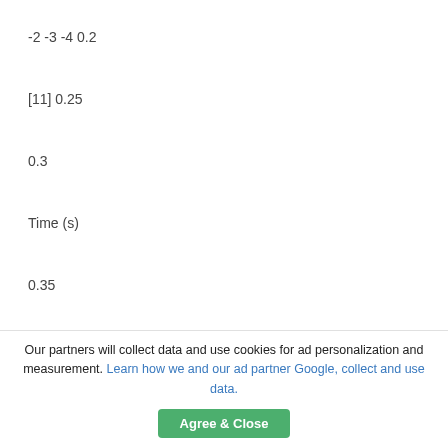-2 -3 -4 0.2
[11] 0.25
0.3
Time (s)
0.35
0.4
Fig. 10. Experimental and Simulated M3 dq currents in the case of three open-circuited phases.
T.M. Jahns, “Improved reliability in solid state ac drives by means of multiple independent phase-drive units”, IEEE Trans.
Our partners will collect data and use cookies for ad personalization and measurement. Learn how we and our ad partner Google, collect and use data.
Agree & Close